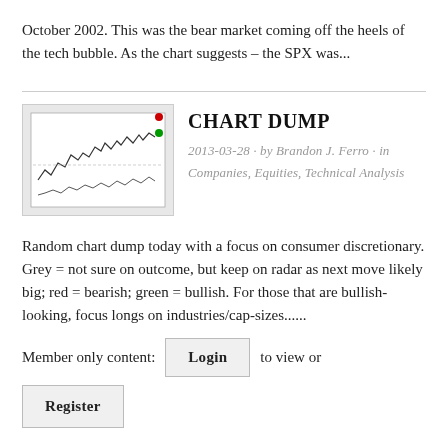October 2002. This was the bear market coming off the heels of the tech bubble. As the chart suggests – the SPX was...
CHART DUMP
2013-03-28 · by Brandon J. Ferro · in Companies, Equities, Technical Analysis
[Figure (screenshot): Thumbnail of a stock chart showing price movement with technical analysis lines]
Random chart dump today with a focus on consumer discretionary. Grey = not sure on outcome, but keep on radar as next move likely big; red = bearish; green = bullish. For those that are bullish-looking, focus longs on industries/cap-sizes......
Member only content: Login to view or
Register
FX DRIVES EVERYTHING
[Figure (screenshot): Thumbnail of another financial chart]